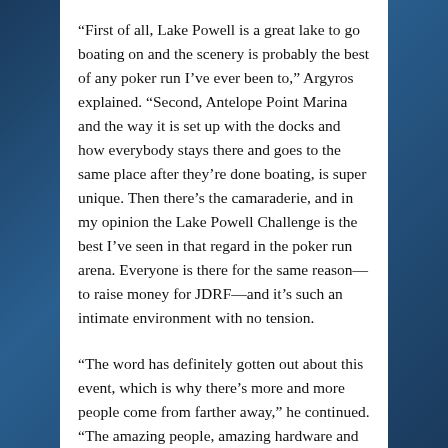“First of all, Lake Powell is a great lake to go boating on and the scenery is probably the best of any poker run I’ve ever been to,” Argyros explained. “Second, Antelope Point Marina and the way it is set up with the docks and how everybody stays there and goes to the same place after they’re done boating, is super unique. Then there’s the camaraderie, and in my opinion the Lake Powell Challenge is the best I’ve seen in that regard in the poker run arena. Everyone is there for the same reason—to raise money for JDRF—and it’s such an intimate environment with no tension.
“The word has definitely gotten out about this event, which is why there’s more and more people come from farther away,” he continued. “The amazing people, amazing hardware and amazing crew—from the owners and the managers to the staff and the volunteers, there’s not one person who won’t go out of their way for the